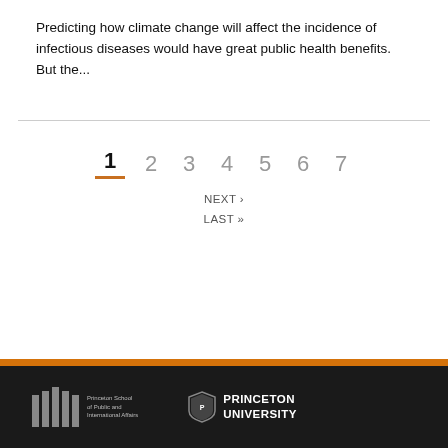Predicting how climate change will affect the incidence of infectious diseases would have great public health benefits. But the...
[Figure (other): Pagination navigation showing pages 1 through 7, with page 1 active (bold, underlined in orange), followed by NEXT › and LAST » links]
[Figure (logo): Princeton School of Public and International Affairs logo with pillars icon and Princeton University shield logo on black footer bar with orange top stripe]